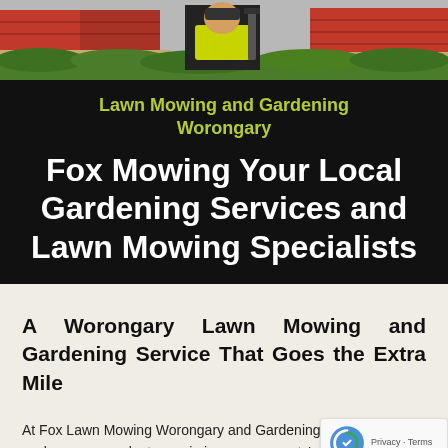[Figure (photo): Photo of a gardener in a yellow hi-vis shirt using hedge trimming equipment, with red tiled roof and green hedge visible in the background.]
Lawn Mowing and Gardening Worongary
Fox Mowing Your Local Gardening Services and Lawn Mowing Specialists
A Worongary Lawn Mowing and Gardening Service That Goes the Extra Mile
At Fox Lawn Mowing Worongary and Gardening Wo... we have one goal – to maximise your property's street appeal...